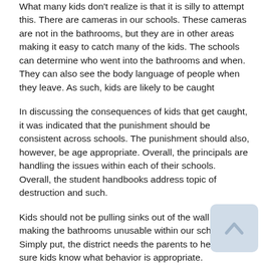What many kids don't realize is that it is silly to attempt this. There are cameras in our schools. These cameras are not in the bathrooms, but they are in other areas making it easy to catch many of the kids. The schools can determine who went into the bathrooms and when. They can also see the body language of people when they leave. As such, kids are likely to be caught
In discussing the consequences of kids that get caught, it was indicated that the punishment should be consistent across schools. The punishment should also, however, be age appropriate. Overall, the principals are handling the issues within each of their schools. Overall, the student handbooks address topic of destruction and such.
Kids should not be pulling sinks out of the wall or making the bathrooms unusable within our schools. Simply put, the district needs the parents to help make sure kids know what behavior is appropriate.
Redistricting
Dr. Stokes and the administration also brought up the topic of the redistricting being done to address the opening of